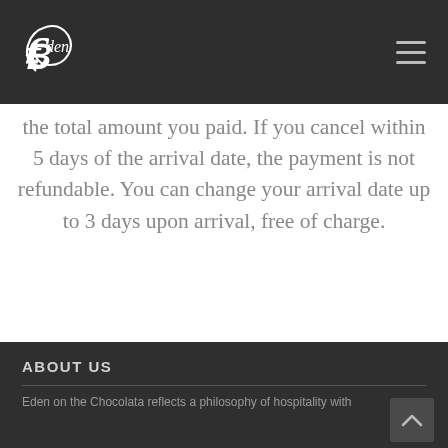Eden logo and navigation
the total amount you paid. If you cancel within 5 days of the arrival date, the payment is not refundable. You can change your arrival date up to 3 days upon arrival, free of charge.
ABOUT US
Eden on the Chocolata reflects a philosophy of hospitality with